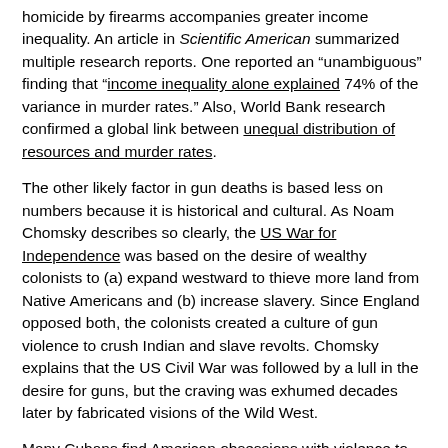homicide by firearms accompanies greater income inequality. An article in Scientific American summarized multiple research reports. One reported an "unambiguous" finding that "income inequality alone explained 74% of the variance in murder rates." Also, World Bank research confirmed a global link between unequal distribution of resources and murder rates.
The other likely factor in gun deaths is based less on numbers because it is historical and cultural. As Noam Chomsky describes so clearly, the US War for Independence was based on the desire of wealthy colonists to (a) expand westward to thieve more land from Native Americans and (b) increase slavery. Since England opposed both, the colonists created a culture of gun violence to crush Indian and slave revolts. Chomsky explains that the US Civil War was followed by a lull in the desire for guns, but the craving was exhumed decades later by fabricated visions of the Wild West.
Many Cubans find American obsessions with violence to be a bit vile. As Cuban physician Dr. Gilberto Fleites Gonzales told interviewer Candace Wolf: "There are many things that are very bad in the